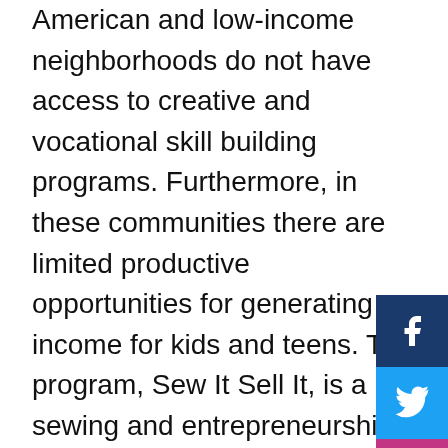American and low-income neighborhoods do not have access to creative and vocational skill building programs. Furthermore, in these communities there are limited productive opportunities for generating income for kids and teens. The program, Sew It Sell It, is a sewing and entrepreneurship program that will give children in these communities the opportunity to express their creativity, learn a vocational skill and develop a sense of self-reliance by sewing and selling a product.
The project based approach of the progr...